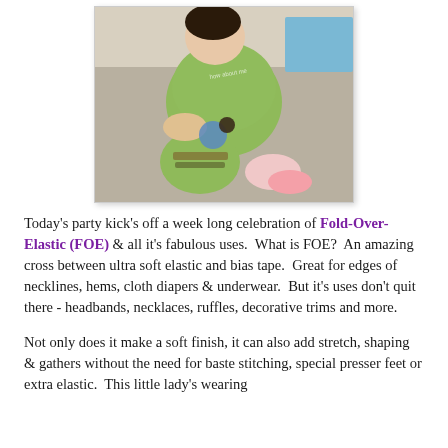[Figure (photo): A baby/toddler sitting on the floor wearing a green long-sleeve shirt and patterned pants with pink socks, holding a toy.]
Today's party kick's off a week long celebration of Fold-Over-Elastic (FOE) & all it's fabulous uses.  What is FOE?  An amazing cross between ultra soft elastic and bias tape.  Great for edges of necklines, hems, cloth diapers & underwear.  But it's uses don't quit there - headbands, necklaces, ruffles, decorative trims and more.
Not only does it make a soft finish, it can also add stretch, shaping & gathers without the need for baste stitching, special presser feet or extra elastic.  This little lady's wearing